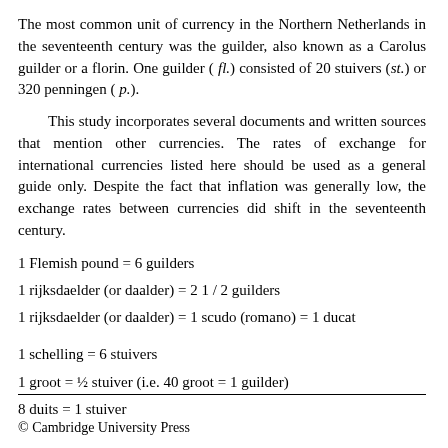The most common unit of currency in the Northern Netherlands in the seventeenth century was the guilder, also known as a Carolus guilder or a florin. One guilder ( fl.) consisted of 20 stuivers (st.) or 320 penningen ( p.).
This study incorporates several documents and written sources that mention other currencies. The rates of exchange for international currencies listed here should be used as a general guide only. Despite the fact that inflation was generally low, the exchange rates between currencies did shift in the seventeenth century.
1 Flemish pound = 6 guilders
1 rijksdaelder (or daalder) = 2 1 / 2 guilders
1 rijksdaelder (or daalder) = 1 scudo (romano) = 1 ducat
1 schelling = 6 stuivers
1 groot = ½ stuiver (i.e. 40 groot = 1 guilder)
8 duits = 1 stuiver
© Cambridge University Press